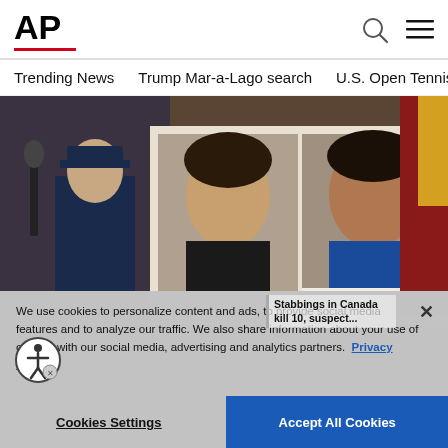AP
Trending News    Trump Mar-a-Lago search    U.S. Open Tennis
[Figure (photo): AP News website screenshot showing a press conference photo with two suspect ID photos labeled DAMIEN SANDERSON and MYLES SANDERSON, a cookie consent overlay, and a headline 'Stabbings in Canada kill 10, suspect...']
We use cookies to personalize content and ads, to provide social media features and to analyze our traffic. We also share information about your use of our site with our social media, advertising and analytics partners.  Privacy Policy
Cookies Settings
Accept All Cookies
Stabbings in Canada kill 10, suspect...